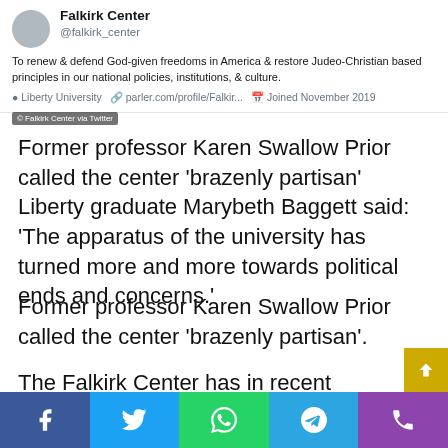[Figure (screenshot): Twitter/Parler profile card for Falkirk Center (@falkirk_center) showing bio text, Liberty University affiliation, parler.com profile link, and 'Joined November 2019']
Former professor Karen Swallow Prior called the center 'brazenly partisan' Liberty graduate Marybeth Baggett said: ‘The apparatus of the university has turned more and more towards political ends and concerns.'
Former professor Karen Swallow Prior called the center ‘brazenly partisan’.
The Falkirk Center has in recent weeks hosted podcasts featuring Trump attorney Rudy Giuliani. And it hired former adviser Sebastian Gorka and current Trump
[Figure (infographic): Social sharing bar at bottom with Facebook, Twitter, WhatsApp, Telegram, and phone icons]